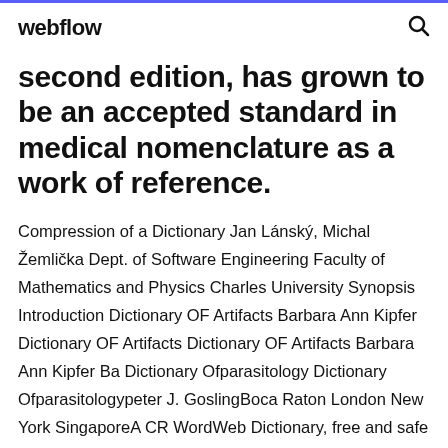webflow
second edition, has grown to be an accepted standard in medical nomenclature as a work of reference.
Compression of a Dictionary Jan Lánský, Michal Žemlička Dept. of Software Engineering Faculty of Mathematics and Physics Charles University Synopsis Introduction Dictionary OF Artifacts Barbara Ann Kipfer Dictionary OF Artifacts Dictionary OF Artifacts Barbara Ann Kipfer Ba Dictionary Ofparasitology Dictionary Ofparasitologypeter J. GoslingBoca Raton London New York SingaporeA CR WordWeb Dictionary, free and safe download. WordWeb